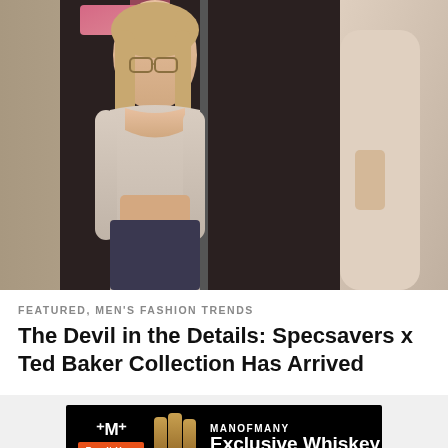[Figure (photo): Woman wearing glasses and a beige crop top looking into a mirror in a moody, pink-lit indoor setting]
FEATURED, MEN'S FASHION TRENDS
The Devil in the Details: Specsavers x Ted Baker Collection Has Arrived
[Figure (infographic): Man of Many Exclusive Whiskey advertisement banner with orange Buy It Here button and whiskey bottle imagery on black background]